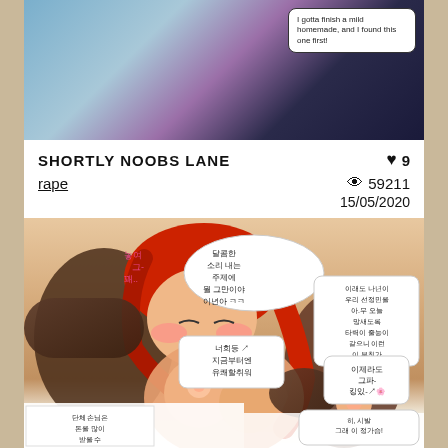[Figure (illustration): Top portion of a manga/comic page showing two anime-style characters with a speech bubble reading 'I gotta finish a mild homemade, and I found this one first!']
SHORTLY NOOBS LANE
♥ 9
rape
👁 59211
15/05/2020
[Figure (illustration): Bottom manga/comic panel showing explicit adult content with Korean speech bubbles containing Korean text dialogue]